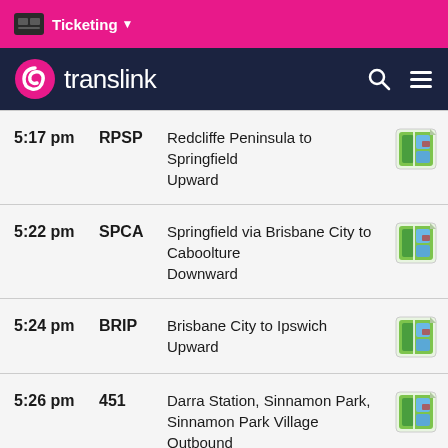Ticketing
[Figure (screenshot): Translink logo and navigation bar with search and menu icons]
5:17 pm | RPSP | Redcliffe Peninsula to Springfield Upward
5:22 pm | SPCA | Springfield via Brisbane City to Caboolture Downward
5:24 pm | BRIP | Brisbane City to Ipswich Upward
5:26 pm | 451 | Darra Station, Sinnamon Park, Sinnamon Park Village Outbound